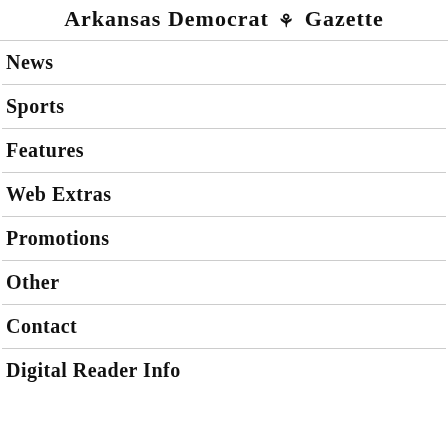Arkansas Democrat Gazette
News
Sports
Features
Web Extras
Promotions
Other
Contact
Digital Reader Info